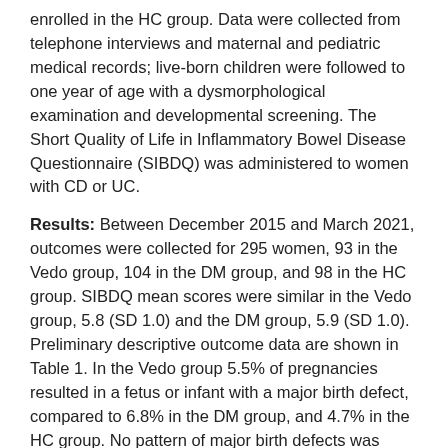enrolled in the HC group. Data were collected from telephone interviews and maternal and pediatric medical records; live-born children were followed to one year of age with a dysmorphological examination and developmental screening. The Short Quality of Life in Inflammatory Bowel Disease Questionnaire (SIBDQ) was administered to women with CD or UC.
Results: Between December 2015 and March 2021, outcomes were collected for 295 women, 93 in the Vedo group, 104 in the DM group, and 98 in the HC group. SIBDQ mean scores were similar in the Vedo group, 5.8 (SD 1.0) and the DM group, 5.9 (SD 1.0). Preliminary descriptive outcome data are shown in Table 1. In the Vedo group 5.5% of pregnancies resulted in a fetus or infant with a major birth defect, compared to 6.8% in the DM group, and 4.7% in the HC group. No pattern of major birth defects was identified in the Vedo group.